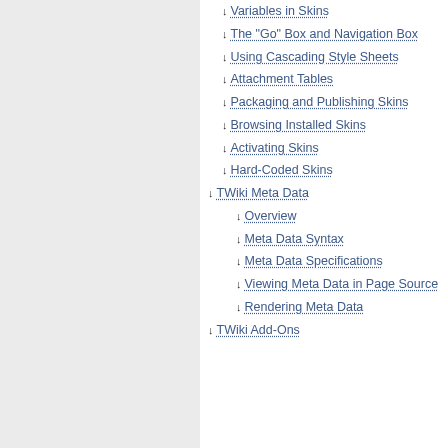Variables in Skins
The "Go" Box and Navigation Box
Using Cascading Style Sheets
Attachment Tables
Packaging and Publishing Skins
Browsing Installed Skins
Activating Skins
Hard-Coded Skins
TWiki Meta Data
Overview
Meta Data Syntax
Meta Data Specifications
Viewing Meta Data in Page Source
Rendering Meta Data
TWiki Add-Ons